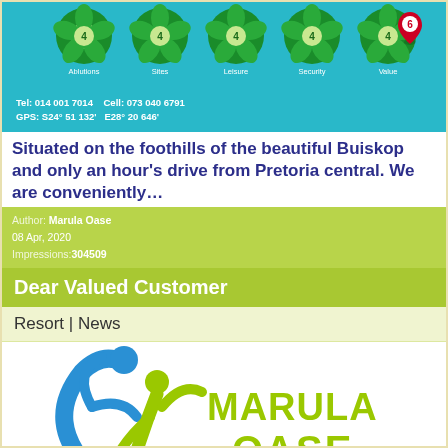[Figure (photo): Cyan/teal banner showing fan/flower icons with labels (Ablutions, Sites, Leisure, Security, Value), a red location pin with number 6, and text: Tel: 014 001 7014  Cell: 073 040 6791  GPS: S24° 51 132'  E28° 20 646']
Situated on the foothills of the beautiful Buiskop and only an hour's drive from Pretoria central. We are conveniently…
Author: Marula Oase
08 Apr, 2020
Impressions: 304509
Dear Valued Customer
Resort | News
[Figure (logo): Marula Oase logo with stylized figures in blue and lime green, and the text MARULA OASE in large lime green letters]